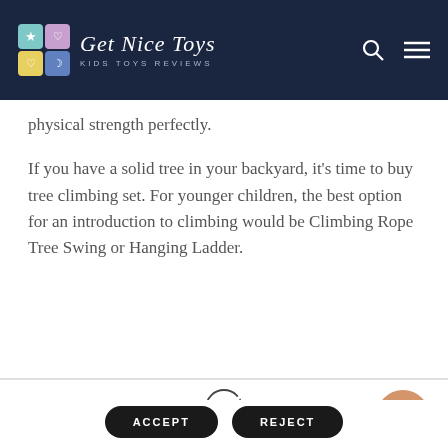Get Nice Toys - Kids Toys Reviews
physical strength perfectly.
If you have a solid tree in your backyard, it's time to buy tree climbing set. For younger children, the best option for an introduction to climbing would be Climbing Rope Tree Swing or Hanging Ladder.
[Figure (illustration): Cookie icon — a circle cookie with bite taken out and dots]
Our site uses cookies. Learn more about our use of cookies: cookie policy
ACCEPT
REJECT